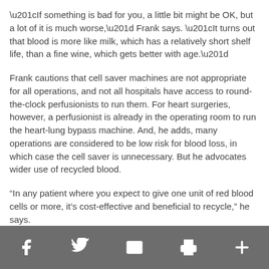“If something is bad for you, a little bit might be OK, but a lot of it is much worse,” Frank says. “It turns out that blood is more like milk, which has a relatively short shelf life, than a fine wine, which gets better with age.”
Frank cautions that cell saver machines are not appropriate for all operations, and not all hospitals have access to round-the-clock perfusionists to run them. For heart surgeries, however, a perfusionist is already in the operating room to run the heart-lung bypass machine. And, he adds, many operations are considered to be low risk for blood loss, in which case the cell saver is unnecessary. But he advocates wider use of recycled blood.
“In any patient where you expect to give one unit of red blood cells or more, it's cost-effective and beneficial to recycle,” he says.
[Facebook] [Twitter] [Email] [Print] [More]